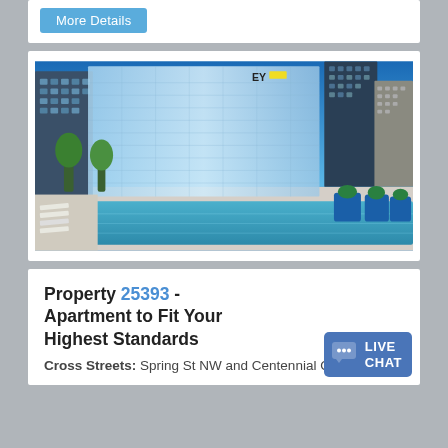More Details
[Figure (photo): Rooftop pool area of a modern apartment building with glass skyscraper (EY logo visible) in background, blue skies, lounge chairs, and large blue planters]
Property 25393 - Apartment to Fit Your Highest Standards
Cross Streets: Spring St NW and Centennial Olympic P